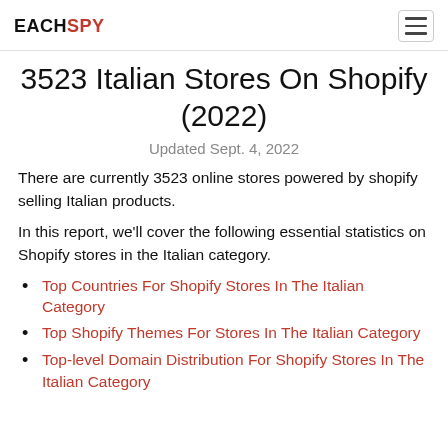EACHSPY
3523 Italian Stores On Shopify (2022)
Updated Sept. 4, 2022
There are currently 3523 online stores powered by shopify selling Italian products.
In this report, we'll cover the following essential statistics on Shopify stores in the Italian category.
Top Countries For Shopify Stores In The Italian Category
Top Shopify Themes For Stores In The Italian Category
Top-level Domain Distribution For Shopify Stores In The Italian Category